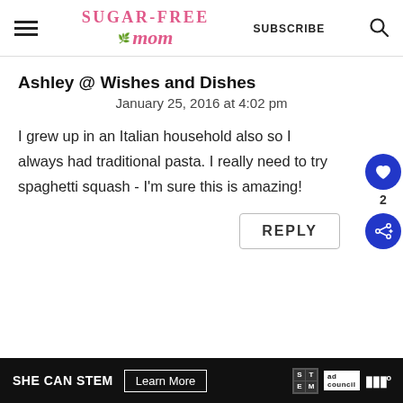SUGAR-FREE mom — SUBSCRIBE
Ashley @ Wishes and Dishes
January 25, 2016 at 4:02 pm
I grew up in an Italian household also so I always had traditional pasta. I really need to try spaghetti squash - I'm sure this is amazing!
REPLY
SHE CAN STEM  Learn More  ad council